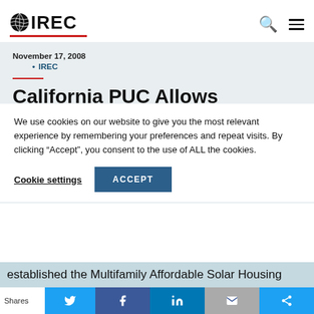IREC
November 17, 2008
IREC
California PUC Allows
We use cookies on our website to give you the most relevant experience by remembering your preferences and repeat visits. By clicking “Accept”, you consent to the use of ALL the cookies.
Cookie settings  ACCEPT
established the Multifamily Affordable Solar Housing
Shares